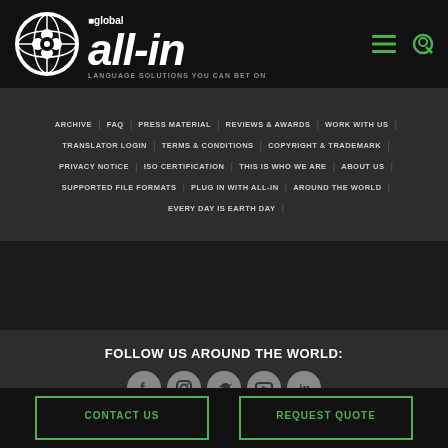[Figure (logo): all-in.global logo with globe icon and tagline LANGUAGE SOLUTIONS YOU CAN BET ON]
ARCHIVE | FAQ | PRESS MATERIAL | REVIEWS & AWARDS | WORK WITH US
TRANSLATOR LOGIN | TERMS & CONDITIONS | COPYRIGHT & TRADEMARK
PRIVACY NOTICE | ISO CERTIFICATION | THIS IS WHO WE ARE | ABOUT US
SUPPORTED FILE FORMATS | PLUG IN WITH ALL-IN | AROUND THE WORLD
EVERY DAY IS EARTH DAY
FOLLOW US AROUND THE WORLD:
[Figure (infographic): Social media icons: Facebook, Instagram, Twitter, YouTube, LinkedIn]
CONTACT US
REQUEST QUOTE